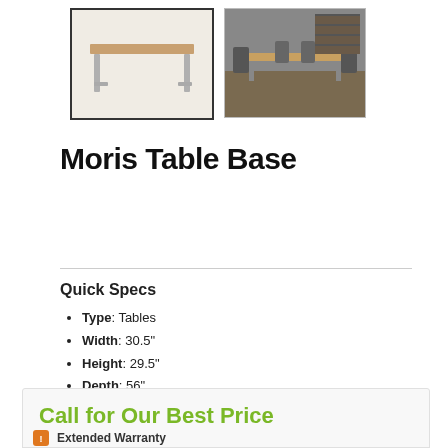[Figure (photo): Two product thumbnail images of Moris Table Base: first shows the table alone on white background (active/selected), second shows the table in a room setting with chairs and brick wall]
Moris Table Base
Amisco
Urban Collection
Quick Specs
Type: Tables
Width: 30.5"
Height: 29.5"
Depth: 56"
Call for Our Best Price
Extended Warranty